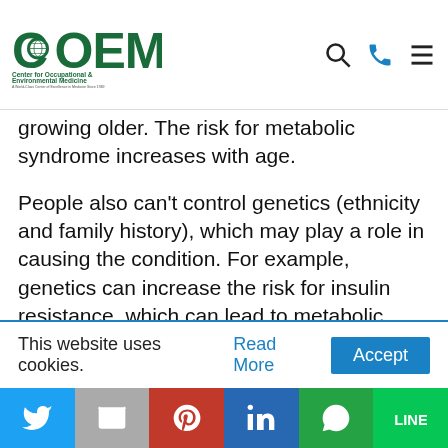Center for Occupational & Environmental Medicine — A World-Class Center of Excellence in Medicine Since 1969
growing older. The risk for metabolic syndrome increases with age.
People also can't control genetics (ethnicity and family history), which may play a role in causing the condition. For example, genetics can increase the risk for insulin resistance, which can lead to metabolic syndrome.
People who have metabolic syndrome often have
This website uses cookies. Read More Accept
Social share bar: Twitter, Email, Pinterest, LinkedIn, WhatsApp, Line